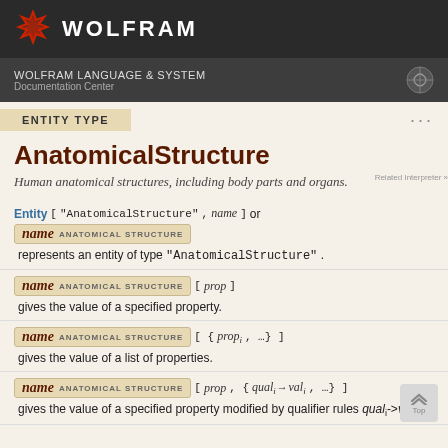WOLFRAM
WOLFRAM LANGUAGE & SYSTEM
Documentation Center
ENTITY TYPE
AnatomicalStructure
Human anatomical structures, including body parts and organs.
Entity ["AnatomicalStructure" , name] or name ANATOMICAL STRUCTURE
represents an entity of type "AnatomicalStructure" .
name ANATOMICAL STRUCTURE [prop]
gives the value of a specified property.
name ANATOMICAL STRUCTURE [{prop_i, ...}]
gives the value of a list of properties.
name ANATOMICAL STRUCTURE [prop, {qual_i -> val_i, ...}]
gives the value of a specified property modified by qualifier rules qual_i->val_i .